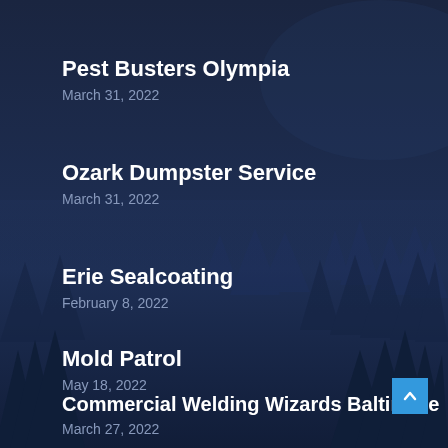Pest Busters Olympia
March 31, 2022
Ozark Dumpster Service
March 31, 2022
Erie Sealcoating
February 8, 2022
Mold Patrol
May 18, 2022
Commercial Welding Wizards Baltimore
March 27, 2022